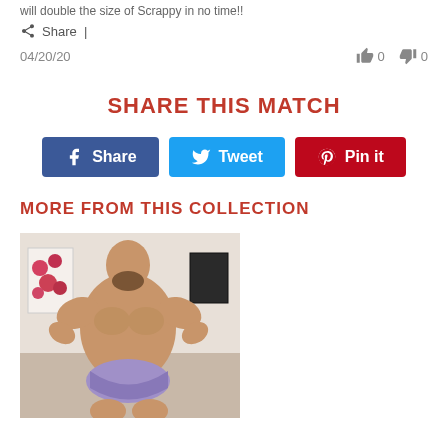will double the size of Scrappy in no time!!
Share |
04/20/20   👍 0   👎 0
SHARE THIS MATCH
Share  Tweet  Pin it
MORE FROM THIS COLLECTION
[Figure (photo): Muscular man posing indoors, flexing arms, wearing purple swimwear, with floral wall art in background]